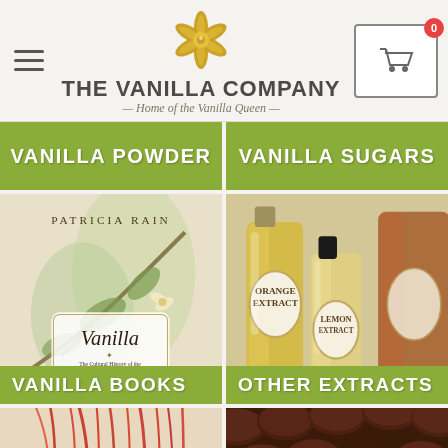[Figure (screenshot): The Vanilla Company website header with hamburger menu, golden flower logo, site name 'THE VANILLA COMPANY — Home of the Vanilla Queen', and shopping cart icon with 0 badge]
[Figure (screenshot): Green banner with text 'VANILLA POWDER']
[Figure (screenshot): Green banner with text 'VANILLA SUGARS']
[Figure (photo): Book cover 'Vanilla' by Patricia Rain — The Cultural History of the World's Favorite Flavor and Fragrance, with botanical illustration]
VANILLA BOOKS
[Figure (photo): Photo of orange extract, lemon extract, and other extract bottles with oval labels on white/amber bottles]
OTHER EXTRACTS
[Figure (photo): Saffron threads — red/orange dried saffron strands]
[Figure (photo): Dark chocolate discs/coins pile]